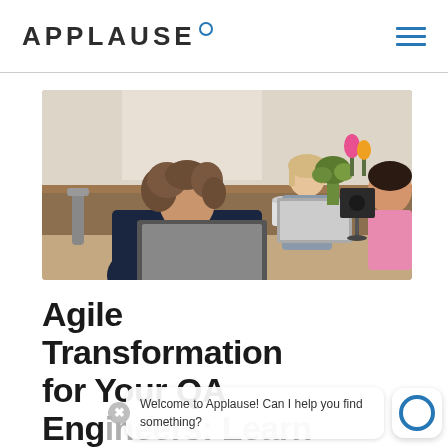APPLAUSE
[Figure (photo): People working on laptops at a shared wooden table in an office or co-working space. A woman with curly hair in a dark top is in the foreground using a laptop. Other people are visible in the background, and there are plants and a coffee mug on the table.]
Agile Transformation for Your QA Engineers: Learn to Work
Welcome to Applause! Can I help you find something?